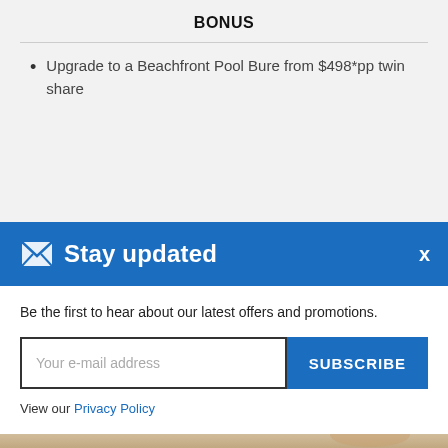BONUS
Upgrade to a Beachfront Pool Bure from $498*pp twin share
[Figure (screenshot): Stay updated email subscription modal with blue header, envelope icon, email input field, SUBSCRIBE button, and Privacy Policy link]
*Conditions apply. Ref no: 51445
[Figure (photo): Partial beach or sunset photo visible at bottom of page]